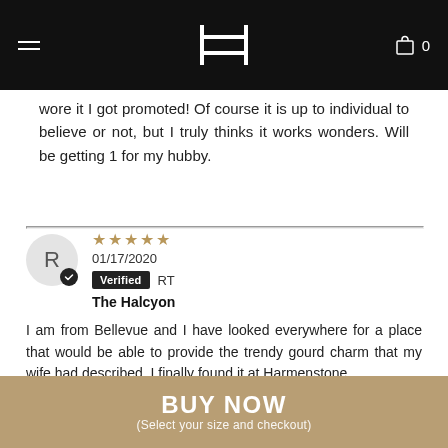Harmenstone store header with logo and cart
wore it I got promoted! Of course it is up to individual to believe or not, but I truly thinks it works wonders. Will be getting 1 for my hubby.
01/17/2020 | Verified RT | The Halcyon | ★★★★★ | I am from Bellevue and I have looked everywhere for a place that would be able to provide the trendy gourd charm that my wife had described. I finally found it at Harmenstone.
BUY NOW (Select your size and checkout)